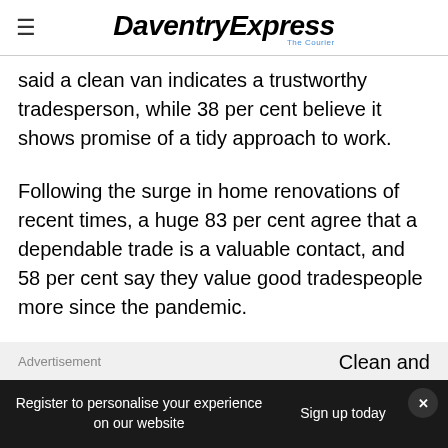DaventryExpress
said a clean van indicates a trustworthy tradesperson, while 38 per cent believe it shows promise of a tidy approach to work.
Following the surge in home renovations of recent times, a huge 83 per cent agree that a dependable trade is a valuable contact, and 58 per cent say they value good tradespeople more since the pandemic.
Advertisement
Clean and
Register to personalise your experience on our website
Sign up today